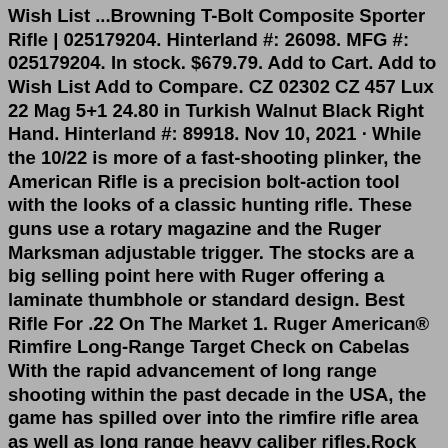Wish List ...Browning T-Bolt Composite Sporter Rifle | 025179204. Hinterland #: 26098. MFG #: 025179204. In stock. $679.79. Add to Cart. Add to Wish List Add to Compare. CZ 02302 CZ 457 Lux 22 Mag 5+1 24.80 in Turkish Walnut Black Right Hand. Hinterland #: 89918. Nov 10, 2021 · While the 10/22 is more of a fast-shooting plinker, the American Rifle is a precision bolt-action tool with the looks of a classic hunting rifle. These guns use a rotary magazine and the Ruger Marksman adjustable trigger. The stocks are a big selling point here with Ruger offering a laminate thumbhole or standard design. Best Rifle For .22 On The Market 1. Ruger American® Rimfire Long-Range Target Check on Cabelas With the rapid advancement of long range shooting within the past decade in the USA, the game has spilled over into the rimfire rifle area as well as long range heavy caliber rifles.Rock Island Armory M1911XT22 TGT 22M 5PRK 14R. $499.00. Add to Compare. (15) Rock Island Armory Armory RIA M1911-A1 XT22 MAGNUM .22 MAG 5". $451.79. Add to Compare.